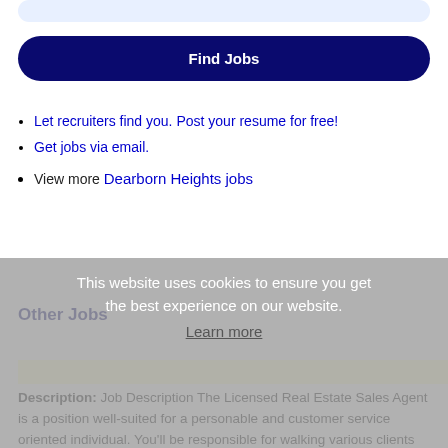[Figure (screenshot): Search bar input at top of page, light blue rounded rectangle]
Find Jobs
Let recruiters find you. Post your resume for free!
Get jobs via email.
View more Dearborn Heights jobs
This website uses cookies to ensure you get the best experience on our website. Learn more
Other Jobs
Licensed Real Estate Sales Agent
Description: Job DescriptionThe Licensed Real Estate Sales Agent is a position well-suited for a personable and customer service oriented individual. You'll be responsible for walking various clients through one of (more...)